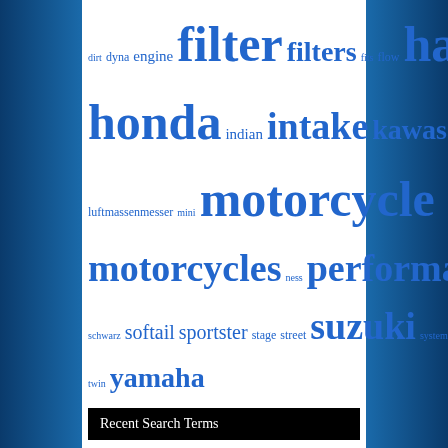dirt dyna engine filter filters fits flow harley high honda indian intake kawasaki luftfilter luftmassenmesser mini motorcycle motorcycles ness performance replacement rick's schwarz softail sportster stage street suzuki system touring twin yamaha
Recent Search Terms
air plenum motorcycle
air filter element round tapered cotton gauze red 6 in diameter inlet
Pages